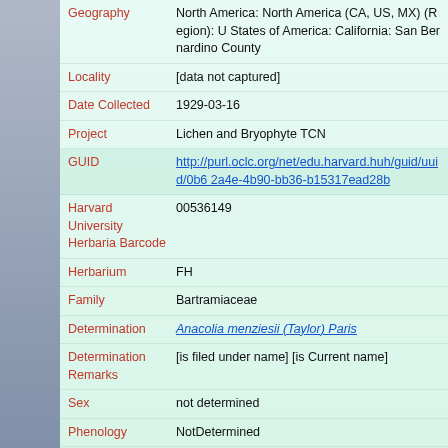| Field | Value |
| --- | --- |
| Geography | North America: North America (CA, US, MX) (Region): United States of America: California: San Bernardino County |
| Locality | [data not captured] |
| Date Collected | 1929-03-16 |
| Project | Lichen and Bryophyte TCN |
| GUID | http://purl.oclc.org/net/edu.harvard.huh/guid/uuid/0b6...2a4e-4b90-bb36-b15317ead28b |
| Harvard University Herbaria Barcode | 00536149 |
| Herbarium | FH |
| Family | Bartramiaceae |
| Determination | Anacolia menziesii (Taylor) Paris |
| Determination Remarks | [is filed under name] [is Current name] |
| Sex | not determined |
| Phenology | NotDetermined |
| Preparation Type | Packet |
| Preparation Method | Dried |